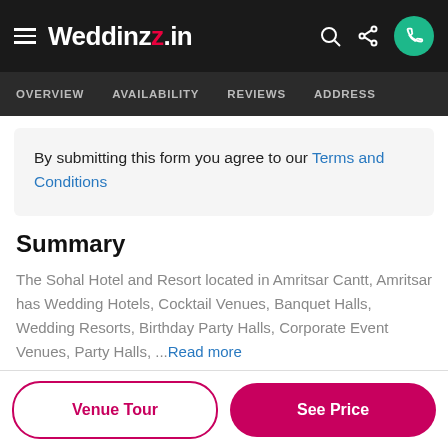Weddingz.in — OVERVIEW  AVAILABILITY  REVIEWS  ADDRESS
By submitting this form you agree to our Terms and Conditions
Summary
The Sohal Hotel and Resort located in Amritsar Cantt, Amritsar has Wedding Hotels, Cocktail Venues, Banquet Halls, Wedding Resorts, Birthday Party Halls, Corporate Event Venues, Party Halls, ...Read more
Venue Tour
See Price